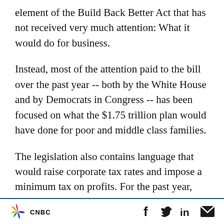element of the Build Back Better Act that has not received very much attention: What it would do for business.
Instead, most of the attention paid to the bill over the past year -- both by the White House and by Democrats in Congress -- has been focused on what the $1.75 trillion plan would have done for poor and middle class families.
The legislation also contains language that would raise corporate tax rates and impose a minimum tax on profits. For the past year, business groups have opposed its passage.
CNBC [logo] [social icons: Facebook, Twitter, LinkedIn, Email]